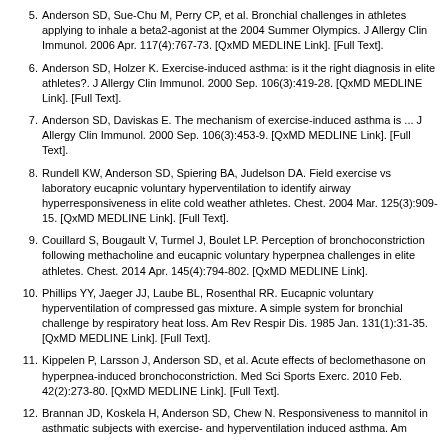5. Anderson SD, Sue-Chu M, Perry CP, et al. Bronchial challenges in athletes applying to inhale a beta2-agonist at the 2004 Summer Olympics. J Allergy Clin Immunol. 2006 Apr. 117(4):767-73. [QxMD MEDLINE Link]. [Full Text].
6. Anderson SD, Holzer K. Exercise-induced asthma: is it the right diagnosis in elite athletes?. J Allergy Clin Immunol. 2000 Sep. 106(3):419-28. [QxMD MEDLINE Link]. [Full Text].
7. Anderson SD, Daviskas E. The mechanism of exercise-induced asthma is ... J Allergy Clin Immunol. 2000 Sep. 106(3):453-9. [QxMD MEDLINE Link]. [Full Text].
8. Rundell KW, Anderson SD, Spiering BA, Judelson DA. Field exercise vs laboratory eucapnic voluntary hyperventilation to identify airway hyperresponsiveness in elite cold weather athletes. Chest. 2004 Mar. 125(3):909-15. [QxMD MEDLINE Link]. [Full Text].
9. Couillard S, Bougault V, Turmel J, Boulet LP. Perception of bronchoconstriction following methacholine and eucapnic voluntary hyperpnea challenges in elite athletes. Chest. 2014 Apr. 145(4):794-802. [QxMD MEDLINE Link].
10. Phillips YY, Jaeger JJ, Laube BL, Rosenthal RR. Eucapnic voluntary hyperventilation of compressed gas mixture. A simple system for bronchial challenge by respiratory heat loss. Am Rev Respir Dis. 1985 Jan. 131(1):31-35. [QxMD MEDLINE Link]. [Full Text].
11. Kippelen P, Larsson J, Anderson SD, et al. Acute effects of beclomethasone on hyperpnea-induced bronchoconstriction. Med Sci Sports Exerc. 2010 Feb. 42(2):273-80. [QxMD MEDLINE Link]. [Full Text].
12. Brannan JD, Koskela H, Anderson SD, Chew N. Responsiveness to mannitol in asthmatic subjects with exercise- and hyperventilation induced asthma. Am...